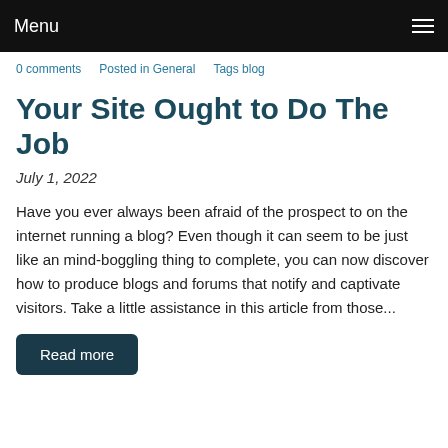Menu
0 comments   Posted in General   Tags blog
Your Site Ought to Do The Job
July 1, 2022
Have you ever always been afraid of the prospect to on the internet running a blog? Even though it can seem to be just like an mind-boggling thing to complete, you can now discover how to produce blogs and forums that notify and captivate visitors. Take a little assistance in this article from those...
Read more